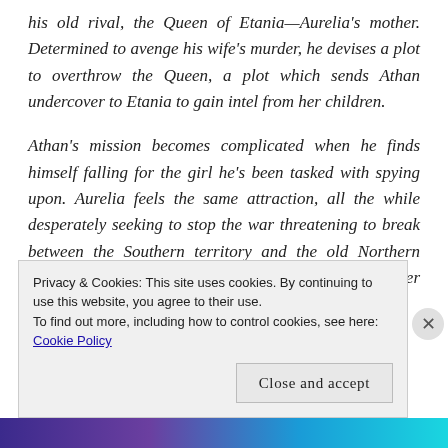his old rival, the Queen of Etania—Aurelia's mother. Determined to avenge his wife's murder, he devises a plot to overthrow the Queen, a plot which sends Athan undercover to Etania to gain intel from her children.
Athan's mission becomes complicated when he finds himself falling for the girl he's been tasked with spying upon. Aurelia feels the same attraction, all the while desperately seeking to stop the war threatening to break between the Southern territory and the old Northern kingdoms that control it—a war in which Athan's father is determined to play a role. As
Privacy & Cookies: This site uses cookies. By continuing to use this website, you agree to their use.
To find out more, including how to control cookies, see here: Cookie Policy